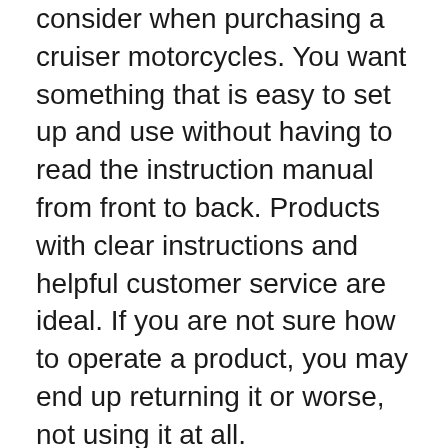consider when purchasing a cruiser motorcycles. You want something that is easy to set up and use without having to read the instruction manual from front to back. Products with clear instructions and helpful customer service are ideal. If you are not sure how to operate a product, you may end up returning it or worse, not using it at all.
How Much Assembly Is Required?
Some products require assembly before they can be used. This is something you want to take into consideration when making your purchase. If you are not handy or do not have the time to assemble a product, you may want to steer clear of those that require assembly.